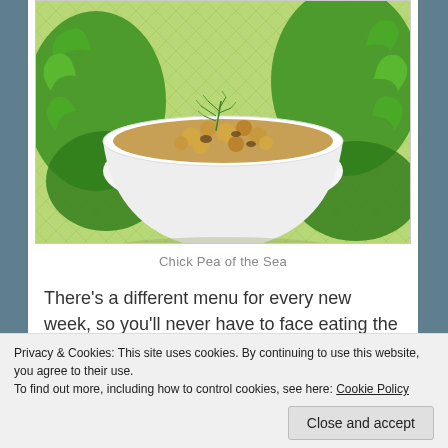[Figure (photo): A white bowl filled with chickpea salad garnished with fresh dill, surrounded by green lettuce leaves on a light green surface.]
Chick Pea of the Sea
There's a different menu for every new week, so you'll never have to face eating the same thing over and over.  There are also gluten-free options available.  The dishes are beautiful, and I'm sure all of them are
Privacy & Cookies: This site uses cookies. By continuing to use this website, you agree to their use.
To find out more, including how to control cookies, see here: Cookie Policy
Close and accept